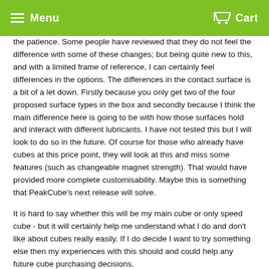Menu  Cart
the patience. Some people have reviewed that they do not feel the difference with some of these changes; but being quite new to this, and with a limited frame of reference, I can certainly feel differences in the options. The differences in the contact surface is a bit of a let down. Firstly because you only get two of the four proposed surface types in the box and secondly because I think the main difference here is going to be with how those surfaces hold and interact with different lubricants. I have not tested this but I will look to do so in the future. Of course for those who already have cubes at this price point, they will look at this and miss some features (such as changeable magnet strength). That would have provided more complete customisability. Maybe this is something that PeakCube's next release will solve.
It is hard to say whether this will be my main cube or only speed cube - but it will certainly help me understand what I do and don't like about cubes really easily. If I do decide I want to try something else then my experiences with this should and could help any future cube purchasing decisions.